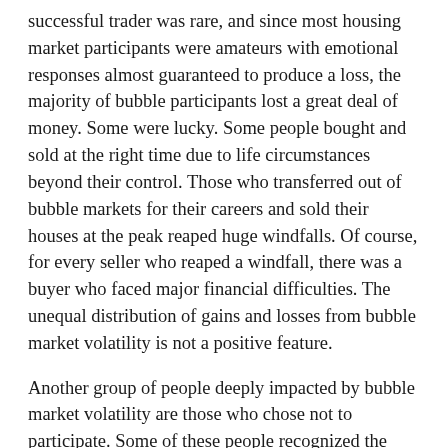successful trader was rare, and since most housing market participants were amateurs with emotional responses almost guaranteed to produce a loss, the majority of bubble participants lost a great deal of money. Some were lucky. Some people bought and sold at the right time due to life circumstances beyond their control. Those who transferred out of bubble markets for their careers and sold their houses at the peak reaped huge windfalls. Of course, for every seller who reaped a windfall, there was a buyer who faced major financial difficulties. The unequal distribution of gains and losses from bubble market volatility is not a positive feature.
Another group of people deeply impacted by bubble market volatility are those who chose not to participate. Some of these people recognized the bubble for what it was, and some could not set aside common sense to accept the fallacious beliefs of bubble mentality. This group was forced to rent during the bubble and subsequent decline. Many of these people would have preferred ownership, preferred to